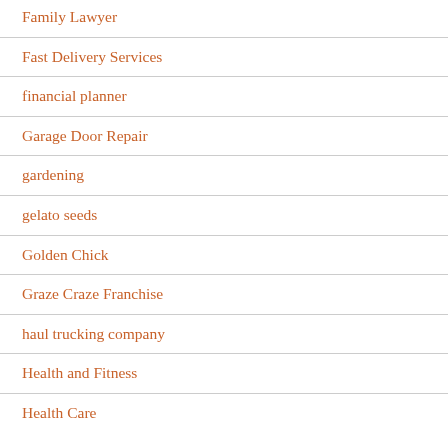Family Lawyer
Fast Delivery Services
financial planner
Garage Door Repair
gardening
gelato seeds
Golden Chick
Graze Craze Franchise
haul trucking company
Health and Fitness
Health Care